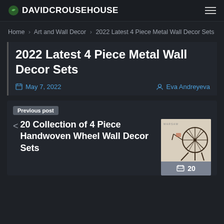DAVIDCROUSEHOUSE
Home > Art and Wall Decor > 2022 Latest 4 Piece Metal Wall Decor Sets
2022 Latest 4 Piece Metal Wall Decor Sets
May 7, 2022  Eva Andreyeva
Previous post
20 Collection of 4 Piece Handwoven Wheel Wall Decor Sets
20